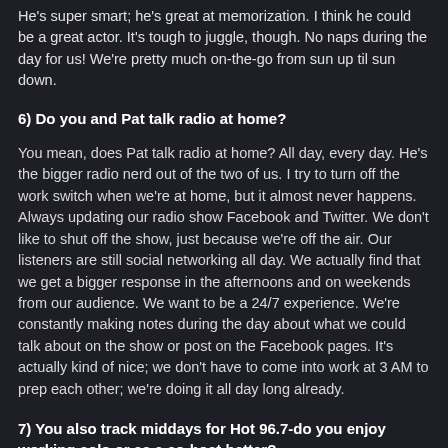He's super smart; he's great at memorization. I think he could be a great actor. It's tough to juggle, though. No naps during the day for us! We're pretty much on-the-go from sun up til sun down.
6) Do you and Pat talk radio at home?
You mean, does Pat talk radio at home? All day, every day. He's the bigger radio nerd out of the two of us. I try to turn off the work switch when we're at home, but it almost never happens. Always updating our radio show Facebook and Twitter. We don't like to shut off the show, just because we're off the air. Our listeners are still social networking all day. We actually find that we get a bigger response in the afternoons and on weekends from our audience. We want to be a 24/7 experience. We're constantly making notes during the day about what we could talk about on the show or post on the Facebook pages. It's actually kind of nice; we don't have to come into work at 3 AM to prep each other; we're doing it all day long already.
7) You also track middays for Hot 96.7-do you enjoy working solo or as a co-host better?